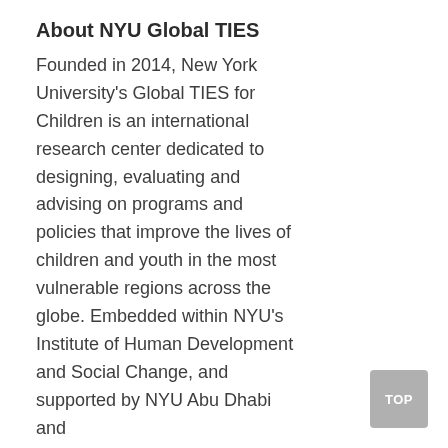About NYU Global TIES
Founded in 2014, New York University's Global TIES for Children is an international research center dedicated to designing, evaluating and advising on programs and policies that improve the lives of children and youth in the most vulnerable regions across the globe. Embedded within NYU's Institute of Human Development and Social Change, and supported by NYU Abu Dhabi and